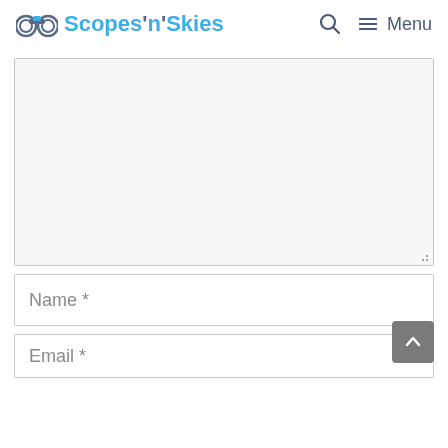Scopes'n'Skies — Search — Menu
[Figure (other): Large empty textarea input box with light gray background and resize handle at bottom-right]
Name *
Email *